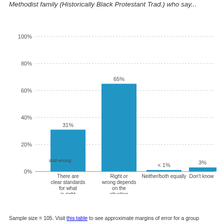Methodist family (Historically Black Protestant Trad.) who say...
[Figure (bar-chart): ]
Sample size = 105. Visit this table to see approximate margins of error for a group